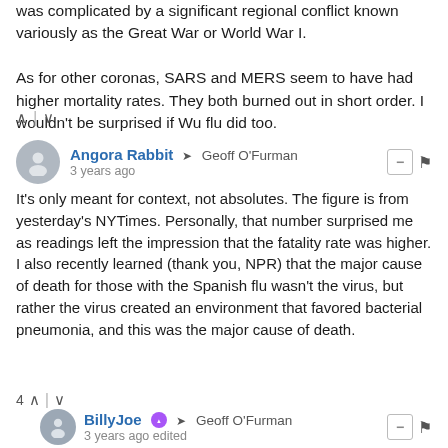was complicated by a significant regional conflict known variously as the Great War or World War I.

As for other coronas, SARS and MERS seem to have had higher mortality rates. They both burned out in short order. I wouldn't be surprised if Wu flu did too.
Angora Rabbit → Geoff O'Furman
3 years ago

It's only meant for context, not absolutes. The figure is from yesterday's NYTimes. Personally, that number surprised me as readings left the impression that the fatality rate was higher. I also recently learned (thank you, NPR) that the major cause of death for those with the Spanish flu wasn't the virus, but rather the virus created an environment that favored bacterial pneumonia, and this was the major cause of death.
BillyJoe → Geoff O'Furman
3 years ago edited